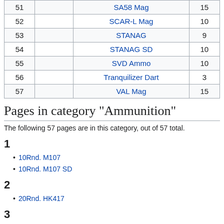| # |  | Name | Count |
| --- | --- | --- | --- |
| 51 |  | SA58 Mag | 15 |
| 52 |  | SCAR-L Mag | 10 |
| 53 |  | STANAG | 9 |
| 54 |  | STANAG SD | 10 |
| 55 |  | SVD Ammo | 10 |
| 56 |  | Tranquilizer Dart | 3 |
| 57 |  | VAL Mag | 15 |
Pages in category "Ammunition"
The following 57 pages are in this category, out of 57 total.
1
10Rnd. M107
10Rnd. M107 SD
2
20Rnd. HK417
3